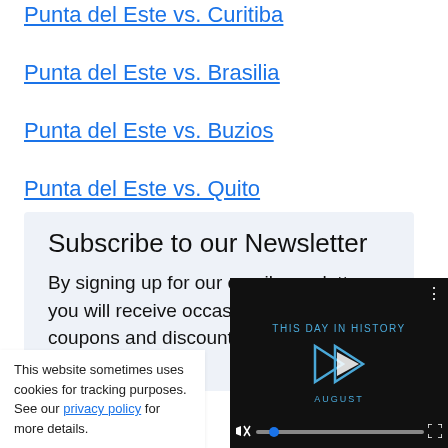Punta del Este vs. Curitiba
Punta del Este vs. Brasilia
Punta del Este vs. Buzios
Punta del Este vs. Quito
Subscribe to our Newsletter
By signing up for our email newsletter, you will receive occasional updates with coupons and discounts, plu... from experienced...
This website sometimes uses cookies for tracking purposes. See our privacy policy for more details.
[Figure (screenshot): Video player overlay showing 'THIS DAY IN HISTORY' with a play button, video progress bar, mute icon, and fullscreen icon on dark background with 'AUGUST' label.]